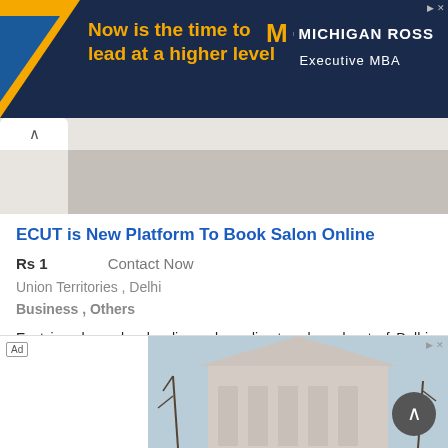[Figure (other): Michigan Ross Executive MBA advertisement banner with yellow/gold text on dark navy background and Michigan M logo]
[Figure (screenshot): Navigation tab area with grey background]
ECUT is New Platform To Book Salon Online
Rs 1  Contact Now
Union Territories , Delhi
Business , Others
Ecut is a hyper-local online salons directory based out of Delhi, India. Ecut allow customers to browse, book, discover, and save best & nearest salon...«Read More »
[Figure (photo): Bottom advertisement showing a building with trees in winter, with Ad label and scroll-up button]